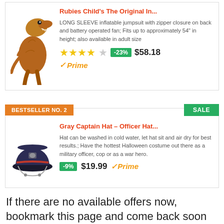[Figure (photo): T-Rex inflatable dinosaur costume child wearing the costume]
Rubies Child's The Original In...
LONG SLEEVE inflatable jumpsuit with zipper closure on back and battery operated fan; Fits up to approximately 54" in height; also available in adult size
★★★★☆ -23% $58.18 Prime
BESTSELLER NO. 2   SALE
[Figure (photo): Gray military captain officer hat with red band and chin strap]
Gray Captain Hat – Officer Hat...
Hat can be washed in cold water, let hat sit and air dry for best results.; Have the hottest Halloween costume out there as a military officer, cop or as a war hero.
-9% $19.99 Prime
If there are no available offers now, bookmark this page and come back soon